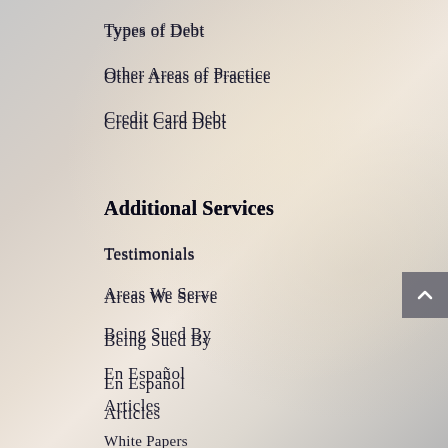Types of Debt
Other Areas of Practice
Credit Card Debt
Additional Services
Testimonials
Areas We Serve
Being Sued By
En Español
Articles
White Papers